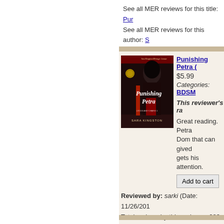See all MER reviews for this title: Pur
See all MER reviews for this author: S
[Figure (illustration): Book cover for 'Punishing Petra' by Sara Kingston, showing a woman in black attire with red accents. Labeled as 'Menage Amour' series.]
Punishing Petra (
$5.99
Categories: BDSM
This reviewer's ra
Great reading. Petra... Dom that can gived... gets his attention.
Add to cart
Reviewed by: sarki (Date: 11/26/201
Total reviews by this reviewer: 283 Se
Did you find this review helpful? You m
See all MER reviews for this title: Pur
See all MER reviews for this author: S